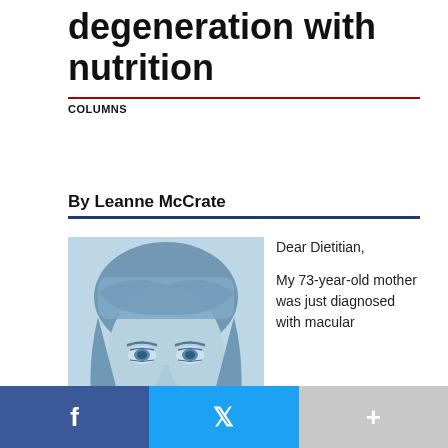degeneration with nutrition
COLUMNS
By Leanne McCrate
[Figure (photo): Close-up portrait photo of a middle-aged woman with blue-tinted color treatment, showing her face from the forehead to chin with bangs.]
Dear Dietitian,

My 73-year-old mother was just diagnosed with macular